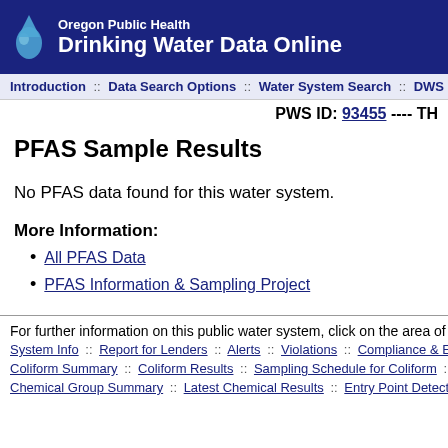Oregon Public Health Drinking Water Data Online
Introduction :: Data Search Options :: Water System Search :: DWS Ho
PWS ID: 93455 ---- TH
PFAS Sample Results
No PFAS data found for this water system.
More Information:
All PFAS Data
PFAS Information & Sampling Project
For further information on this public water system, click on the area of intere
System Info :: Report for Lenders :: Alerts :: Violations :: Compliance & Enfor
Coliform Summary :: Coliform Results :: Sampling Schedule for Coliform :: G
Chemical Group Summary :: Latest Chemical Results :: Entry Point Detects :